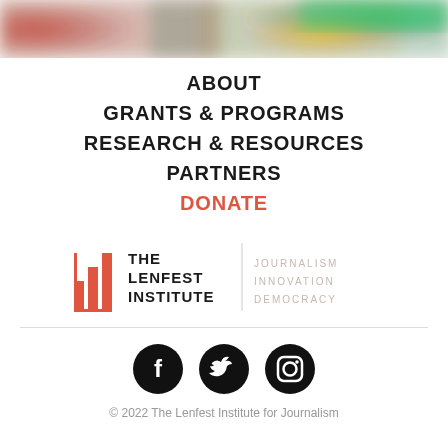[Figure (photo): Colorful blurred bokeh image at the top of the page with red, green, and yellow tones]
ABOUT
GRANTS & PROGRAMS
RESEARCH & RESOURCES
PARTNERS
DONATE
[Figure (logo): The Lenfest Institute logo with stacked bar icon and tagline JOURNALISM INNOVATION DEMOCRACY]
[Figure (other): Social media icons for Facebook, Twitter, and Instagram]
© 2022 The Lenfest Institute for Journalism